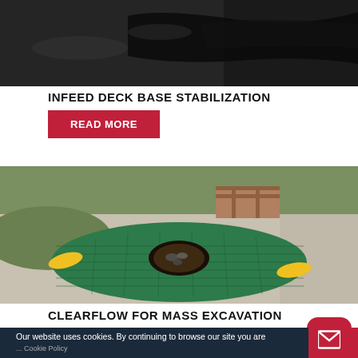[Figure (photo): Aerial/close-up photo of a dark construction site with black plastic sheeting on pavement]
INFEED DECK BASE STABILIZATION
READ MORE
[Figure (photo): Green mesh/net bag laid on a sidewalk with yellow handles on each side, with grass visible in background]
CLEARFLOW FOR MASS EXCAVATION
Our website uses cookies. By continuing to browse our site you are ... Cookie Policy
[Figure (other): Social media share bar: Facebook (blue), Twitter (blue), Email (dark), Pinterest (red), and email button (red rounded)]